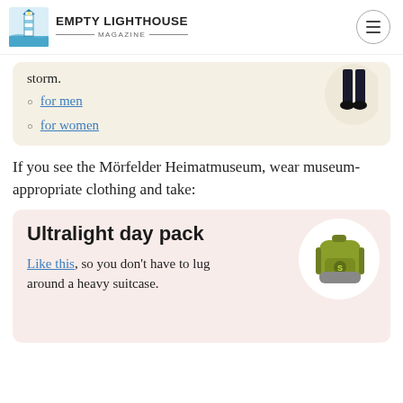EMPTY LIGHTHOUSE MAGAZINE
storm.
for men
for women
If you see the Mörfelder Heimatmuseum, wear museum-appropriate clothing and take:
Ultralight day pack
Like this, so you don't have to lug around a heavy suitcase.